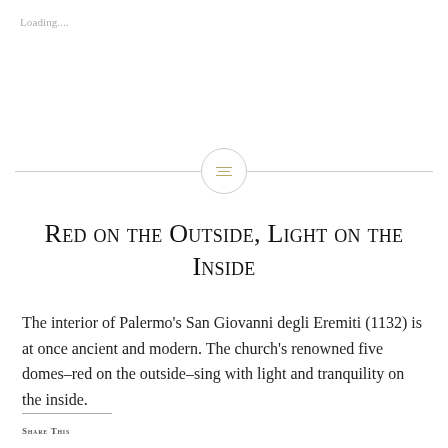Loading....
[Figure (other): Horizontal divider line with a circular icon containing three horizontal lines (menu/list icon) in golden color]
Red on the Outside, Light on the Inside
The interior of Palermo's San Giovanni degli Eremiti (1132) is at once ancient and modern. The church's renowned five domes–red on the outside–sing with light and tranquility on the inside.
SHARE THIS